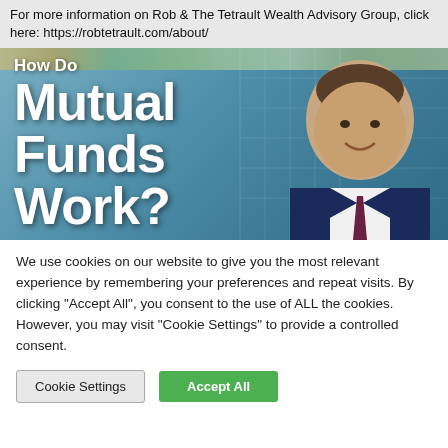For more information on Rob & The Tetrault Wealth Advisory Group, click here: https://robtetrault.com/about/
[Figure (photo): Promotional banner image with text 'How Do Mutual Funds Work?' overlaid on a background showing a man in a suit (financial advisor) against a city building backdrop. Large white bold text dominates the left side.]
We use cookies on our website to give you the most relevant experience by remembering your preferences and repeat visits. By clicking "Accept All", you consent to the use of ALL the cookies. However, you may visit "Cookie Settings" to provide a controlled consent.
Cookie Settings
Accept All